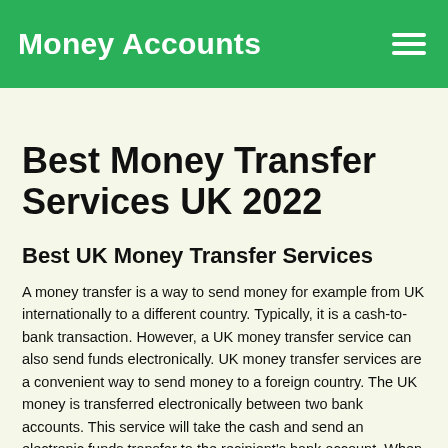Money Accounts
Best Money Transfer Services UK 2022
Best UK Money Transfer Services
A money transfer is a way to send money for example from UK internationally to a different country. Typically, it is a cash-to-bank transaction. However, a UK money transfer service can also send funds electronically. UK money transfer services are a convenient way to send money to a foreign country. The UK money is transferred electronically between two bank accounts. This service will take the cash and send an electronic funds transfer to the recipient's bank account. When transferring money through an electronic funds transfer, the recipient will receive an email